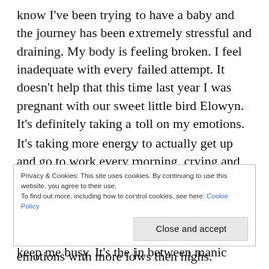know I've been trying to have a baby and the journey has been extremely stressful and draining. My body is feeling broken. I feel inadequate with every failed attempt. It doesn't help that this time last year I was pregnant with our sweet little bird Elowyn. It's definitely taking a toll on my emotions. It's taking more energy to actually get up and go to work every morning, crying and falling apart on the car ride there, pulling myself together before I leave my car. I'm drinking more then usual, I've poured myself into my writing and the gym to try to keep me busy. It's the in between manic
Privacy & Cookies: This site uses cookies. By continuing to use this website, you agree to their use.
To find out more, including how to control cookies, see here: Cookie Policy
Close and accept
emotions with more lows then highs.